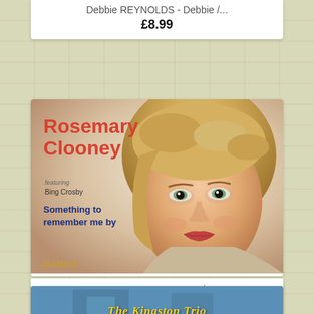Debbie REYNOLDS - Debbie /...
£8.99
[Figure (photo): Album cover for Rosemary Clooney featuring Bing Crosby - 'Something to remember me by', Jasmine label. Shows portrait of blonde woman smiling.]
Rosemary CLOONEY & Bing...
£8.99
[Figure (photo): Partial view of The Kingston Trio album cover showing the group name in yellow italic text on a blue background with a house/building visible.]